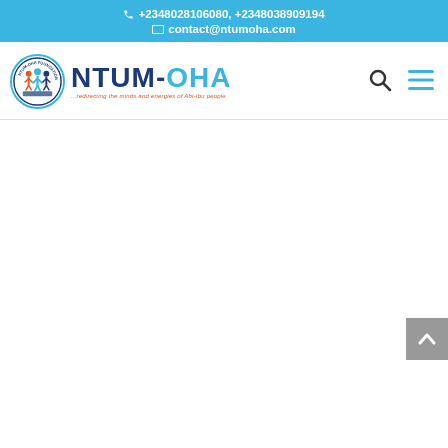+2348028106080, +2348038909194 | contact@ntumoha.com
[Figure (logo): NTUM-OHA organization logo with circular emblem and text. Tagline: ...redirecting the minds and energies of Abi-Ibu people]
[Figure (other): Search icon (magnifying glass) in navigation bar]
[Figure (other): Hamburger menu icon (three horizontal lines) in navigation bar]
[Figure (other): Back to top button with upward chevron arrow, grey square button on right side]